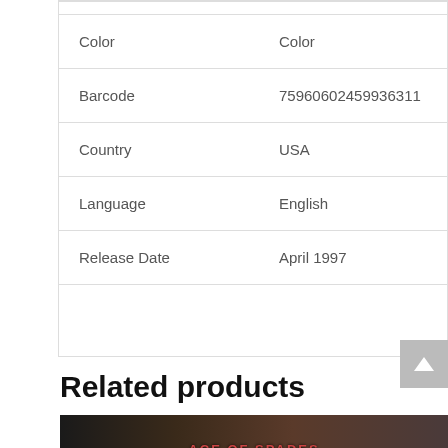| Attribute | Value |
| --- | --- |
| Color | Color |
| Barcode | 75960602459936311 |
| Country | USA |
| Language | English |
| Release Date | April 1997 |
Related products
[Figure (photo): Partial view of a product image showing dark background with stylized text, likely a music album or video game cover]